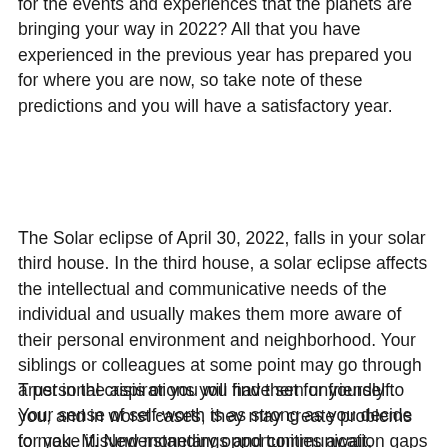for the events and experiences that the planets are bringing your way in 2022? All that you have experienced in the previous year has prepared you for where you are now, so take note of these predictions and you will have a satisfactory year.
The Solar eclipse of April 30, 2022, falls in your solar third house. In the third house, a solar eclipse affects the intellectual and communicative needs of the individual and usually makes them more aware of their personal environment and neighborhood. Your siblings or colleagues at some point may go through a personal crisis or you will find them unfriendly to you, and in worst cases, they may create problems for you. Misunderstandings and communication gaps with neighbors are also possible for you this year.
Trust in the aspirations you have set for yourself. Your sense of self-worth is as strong as you decide to make it. New monetary opportunities await, including some unexpected and overlooked sources of income. Be open to learning a new skill set to receive this career possibility. Do